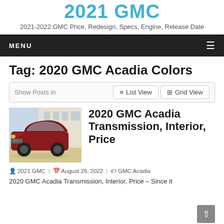2021 GMC
2021-2022 GMC Price, Redesign, Specs, Engine, Release Date
MENU
Tag: 2020 GMC Acadia Colors
Show Posts in   List View   Grid View
[Figure (photo): Photo of a dark red GMC Acadia SUV parked outside a building with the word 'liberty' visible in the background]
2020 GMC Acadia Transmission, Interior, Price
2021 GMC  |  August 28, 2022  |  GMC Acadia
2020 GMC Acadia Transmission, Interior, Price – Since it